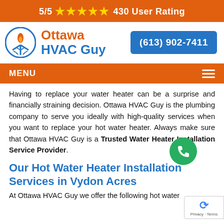5/5 ★★★★★ 430 User Rating
[Figure (logo): Ottawa HVAC Guy logo with flame and snowflake icon in orange circle, company name in orange and blue text, and blue phone button showing (613) 902-7411]
MENU
Having to replace your water heater can be a surprise and financially straining decision. Ottawa HVAC Guy is the plumbing company to serve you ideally with high-quality services when you want to replace your hot water heater. Always make sure that Ottawa HVAC Guy is a Trusted Water Heater Installation Service Provider.
Our Hot Water Heater Installation Services in Vydon Acres
At Ottawa HVAC Guy we offer the following hot water